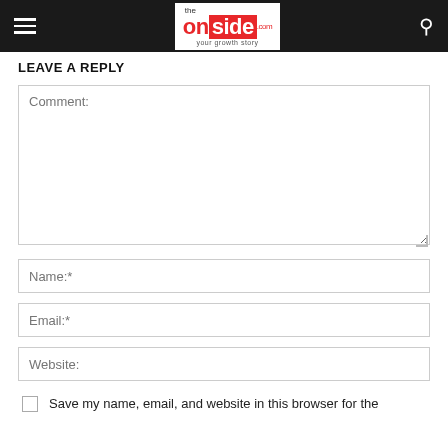the onside .com your growth story
LEAVE A REPLY
Comment:
Name:*
Email:*
Website:
Save my name, email, and website in this browser for the